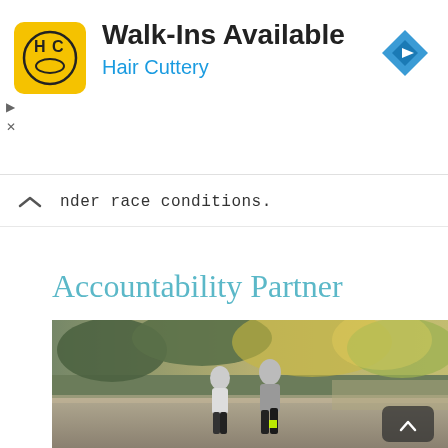[Figure (infographic): Hair Cuttery advertisement banner. Yellow square logo with HC initials, bold text 'Walk-Ins Available', blue text 'Hair Cuttery', blue diamond navigation icon top right, and ad controls (play/close) on left side.]
nder race conditions.
Accountability Partner
[Figure (photo): Two runners (a woman and a man) jogging together on a paved path in a park, seen from behind, with trees and warm sunlight in the background. A scroll-up button overlay is visible in the bottom right corner of the image.]